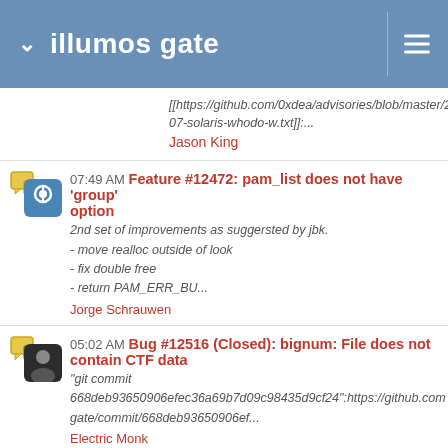illumos gate
[[https://github.com/0xdea/advisories/blob/master/202007-solaris-whodo-w.txt]]:...
Jason King
07:49 AM Feature #12472: pam_list does not have 'group' option
2nd set of improvements as suggersted by jbk.
- move realloc outside of look
- fix double free
- return PAM_ERR_BU...
Jorge Schrauwen
05:02 AM Bug #12516 (Closed): bignum: File does not contain CTF data
"git commit 668deb93650906efec36a69b7d09c98435d9cf24":https://github.com gate/commit/668deb93650906ef...
Electric Monk
04:58 AM Bug #12424 (Closed): ononconr: variable may